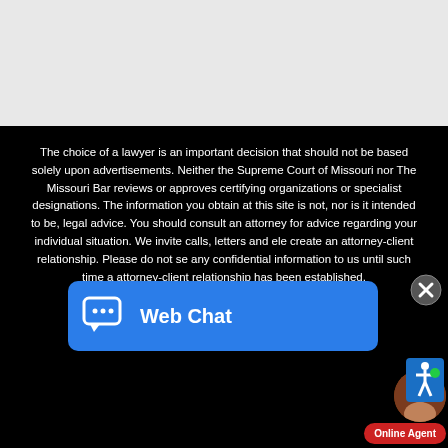[Figure (screenshot): Gray top section of a webpage (browser chrome/header area)]
The choice of a lawyer is an important decision that should not be based solely upon advertisements. Neither the Supreme Court of Missouri nor The Missouri Bar reviews or approves certifying organizations or specialist designations. The information you obtain at this site is not, nor is it intended to be, legal advice. You should consult an attorney for advice regarding your individual situation. We invite calls, letters and ele create an attorney-client relationship. Please do not se any confidential information to us until such time a attorney-client relationship has been established.
[Figure (screenshot): Web Chat overlay button with chat bubble icon and 'Web Chat' label in blue]
[Figure (screenshot): Close (X) circular button overlay]
[Figure (screenshot): Accessibility (wheelchair) icon button]
[Figure (screenshot): Online agent avatar photo with green online dot and 'Online Agent' red button]